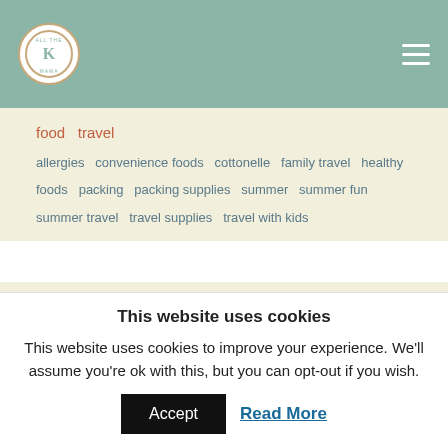food  travel
allergies  convenience foods  cottonelle  family travel  healthy foods  packing  packing supplies  summer  summer fun  summer travel  travel supplies  travel with kids
May 5, 2014
Homemade Blackberry Pie Recipe {Backyard
This website uses cookies
This website uses cookies to improve your experience. We'll assume you're ok with this, but you can opt-out if you wish.